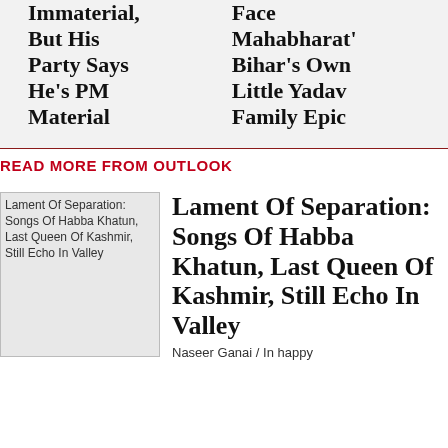Immaterial, But His Party Says He's PM Material
Face Mahabharat' Bihar's Own Little Yadav Family Epic
READ MORE FROM OUTLOOK
[Figure (photo): Thumbnail image for article: Lament Of Separation: Songs Of Habba Khatun, Last Queen Of Kashmir, Still Echo In Valley]
Lament Of Separation: Songs Of Habba Khatun, Last Queen Of Kashmir, Still Echo In Valley
Naseer Ganai / In happy